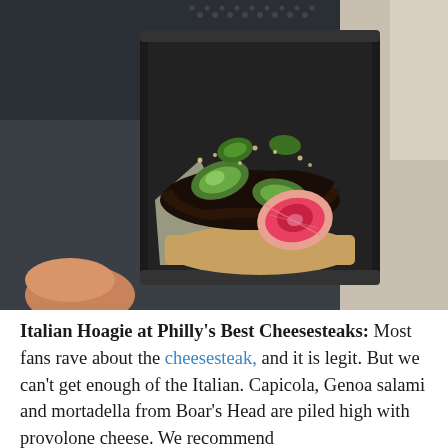[Figure (photo): A food photo showing an Italian Hoagie sandwich in a black takeout container. The sandwich contains dark grilled/charred meat, sliced avocado, bright pink/red watermelon radish slices, jalapeño slices, and sesame seeds, all on a toasted roll. The container sits on a dark table surface.]
Italian Hoagie at Philly's Best Cheesesteaks: Most fans rave about the cheesesteak, and it is legit. But we can't get enough of the Italian. Capicola, Genoa salami and mortadella from Boar's Head are piled high with provolone cheese. We recommend